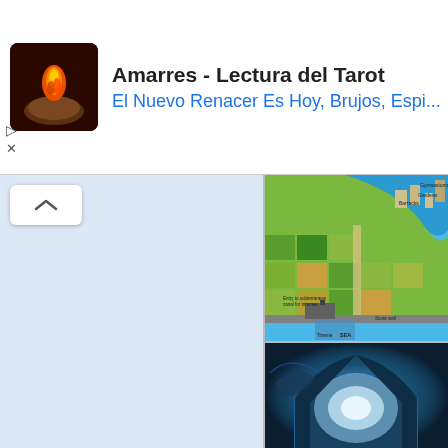[Figure (screenshot): Advertisement banner: Amarres - Lectura del Tarot. Shows a candle/fire icon, title text, subtitle in blue 'El Nuevo Renacer Es Hoy, Brujos, Espi...', a blue navigation arrow diamond icon, and play/close controls.]
[Figure (illustration): Illustrated aerial map of an ancient coastal city (possibly Atlantis or Greek city-state), showing fields, rivers, walls, sea, with labels: Gymnasiums, Gardens, Barracks, Entry to subterranean canal for triremes, Stone wall, Trireme, SEA]
[Figure (illustration): Underwater photo or illustration showing a glowing archway or tunnel beneath the sea, with blue tones and light coming through the arch]